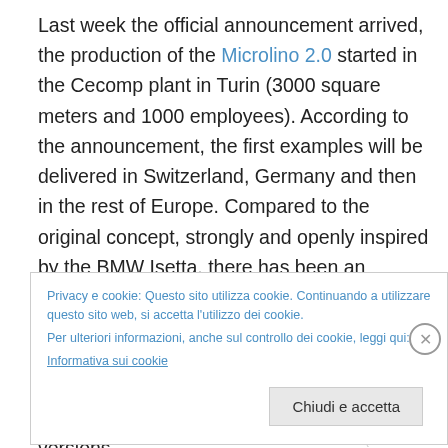Last week the official announcement arrived, the production of the Microlino 2.0 started in the Cecomp plant in Turin (3000 square meters and 1000 employees). According to the announcement, the first examples will be delivered in Switzerland, Germany and then in the rest of Europe. Compared to the original concept, strongly and openly inspired by the BMW Isetta, there has been an evolution and in fact the 2.0 shows a slightly redesigned design, accompanied by some changes and technical updates. The electric microcar has a 12.5 kW motor and a top speed of 90 Km/h. There will be three versions
Privacy e cookie: Questo sito utilizza cookie. Continuando a utilizzare questo sito web, si accetta l'utilizzo dei cookie.
Per ulteriori informazioni, anche sul controllo dei cookie, leggi qui:
Informativa sui cookie
Chiudi e accetta